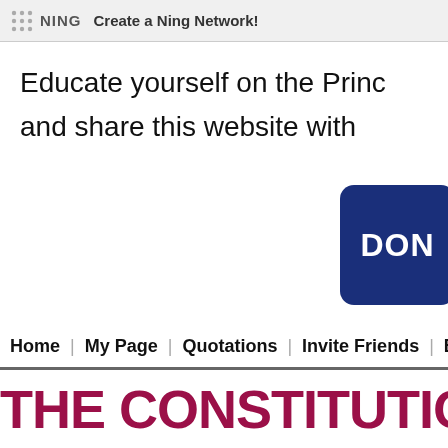NING  Create a Ning Network!
Educate yourself on the Princ and share this website with
[Figure (other): Dark blue rounded rectangle donate button with white bold text 'DON' visible (partially cropped)]
Home | My Page | Quotations | Invite Friends | Blog
THE CONSTITUTION